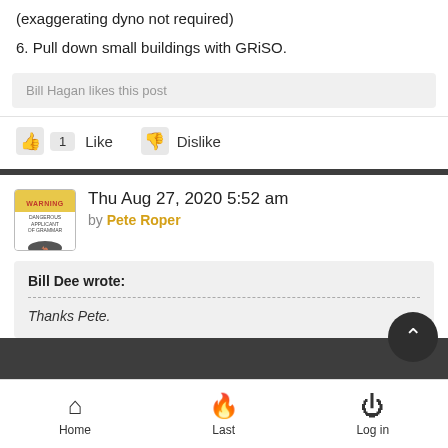(exaggerating dyno not required)
6. Pull down small buildings with GRiSO.
Bill Hagan likes this post
Like   1   Dislike
Thu Aug 27, 2020 5:52 am by Pete Roper
Bill Dee wrote:
Thanks Pete.
Home   Last   Log in